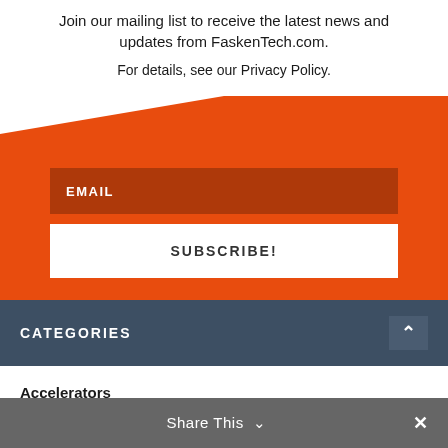Join our mailing list to receive the latest news and updates from FaskenTech.com.
For details, see our Privacy Policy.
EMAIL
SUBSCRIBE!
CATEGORIES
Accelerators
Boardroom
Share This ∨  ✕